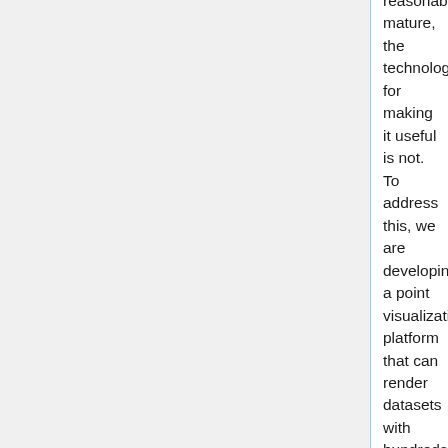reasonably mature, the technology for making it useful is not. To address this, we are developing a point visualization platform that can render datasets with hundreds of millions of points with minimal preprocessing on modest hardware, while maintaining high visual quality. (Read